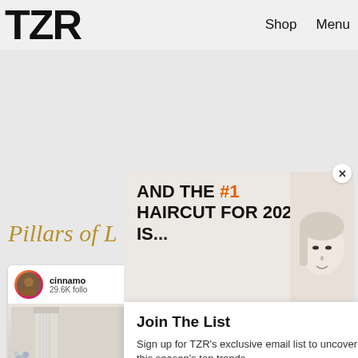TZR   Shop   Menu
AND THE #1 HAIRCUT FOR 2022 IS...
Pillars of L
cinnamo
29.6K follo
Join The List
Sign up for TZR's exclusive email list to uncover this season's top trends
Email address   Subscribe